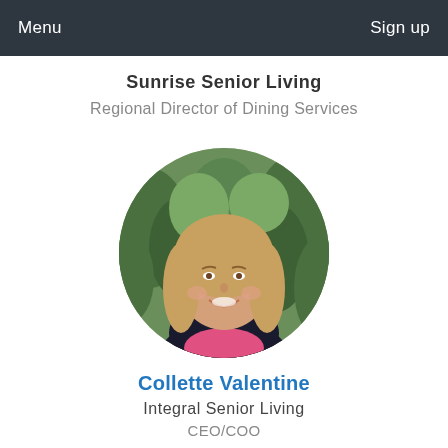Menu   Sign up
Sunrise Senior Living
Regional Director of Dining Services
[Figure (photo): Circular profile photo of a smiling woman with long blonde hair, wearing a pink and black outfit, standing in front of green foliage]
Collette Valentine
Integral Senior Living
CEO/COO